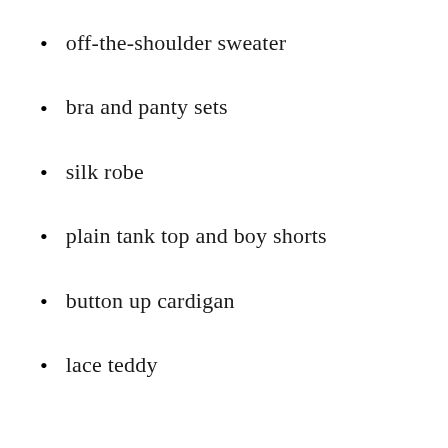off-the-shoulder sweater
bra and panty sets
silk robe
plain tank top and boy shorts
button up cardigan
lace teddy